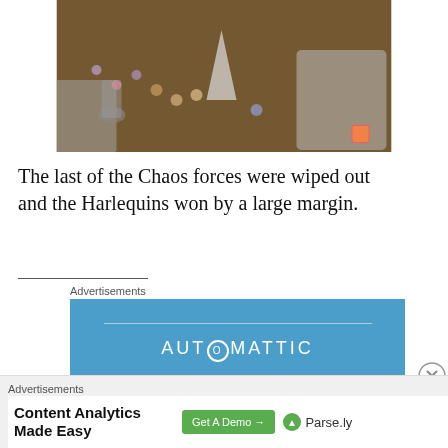[Figure (photo): Warhammer-style tabletop miniature figures including Harlequins and Chaos models arranged on a brown surface with dice and terrain pieces]
The last of the Chaos forces were wiped out and the Harlequins won by a large margin.
_______________-
Advertisements
[Figure (logo): Automattic advertisement banner with blue background and white AUTOMATTIC wordmark with a circular O logo mark]
Advertisements
Content Analytics Made Easy  Get A Demo →  Parse.ly